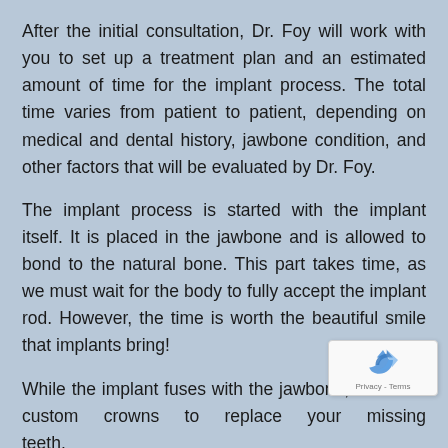After the initial consultation, Dr. Foy will work with you to set up a treatment plan and an estimated amount of time for the implant process. The total time varies from patient to patient, depending on medical and dental history, jawbone condition, and other factors that will be evaluated by Dr. Foy.
The implant process is started with the implant itself. It is placed in the jawbone and is allowed to bond to the natural bone. This part takes time, as we must wait for the body to fully accept the implant rod. However, the time is worth the beautiful smile that implants bring!
While the implant fuses with the jawbone, we make custom crowns to replace your missing teeth. variety of materials and colors, we make sure t crown matches your natural teeth exactly, which is part of